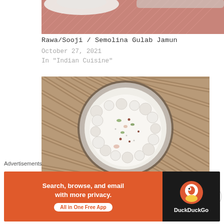[Figure (photo): Partial view of a plate with red/pink patterned tablecloth background, top portion of food photo]
Rawa/Sooji / Semolina Gulab Jamun
October 27, 2021
In "Indian Cuisine"
[Figure (photo): Overhead view of a glass bowl containing Dry Fruits Milk Shake - a white creamy drink with dry fruits garnished on top, placed on a brown woven mat]
Dry Fruits Milk Shake
May 24, 2021
[Figure (other): DuckDuckGo advertisement banner: orange left section with text 'Search, browse, and email with more privacy. All in One Free App' and dark right section with DuckDuckGo logo and name]